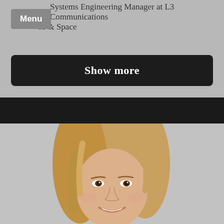Systems Engineering Manager at L3 Communications
se & Space
Menu
Show more
[Figure (photo): Portrait photo of a smiling woman with blonde hair, photographed against a light grey background.]